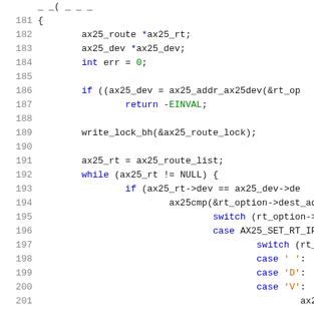[Figure (screenshot): Source code listing in a code editor showing lines 181-201 of C code for ax25 routing functions. Lines are shown with syntax highlighting: keywords in blue, numbers in green, string literals in orange/brown, and default text in dark. The code shows variable declarations, an if-statement checking ax25_addr_ax25dev, write_lock_bh call, a while loop, nested if and switch/case statements for AX25 routing.]